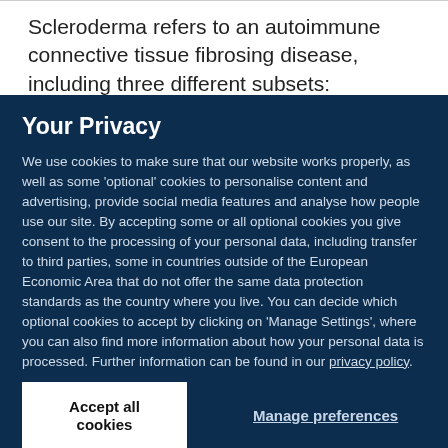Scleroderma refers to an autoimmune connective tissue fibrosing disease, including three different subsets:
Your Privacy
We use cookies to make sure that our website works properly, as well as some 'optional' cookies to personalise content and advertising, provide social media features and analyse how people use our site. By accepting some or all optional cookies you give consent to the processing of your personal data, including transfer to third parties, some in countries outside of the European Economic Area that do not offer the same data protection standards as the country where you live. You can decide which optional cookies to accept by clicking on 'Manage Settings', where you can also find more information about how your personal data is processed. Further information can be found in our privacy policy.
Accept all cookies
Manage preferences